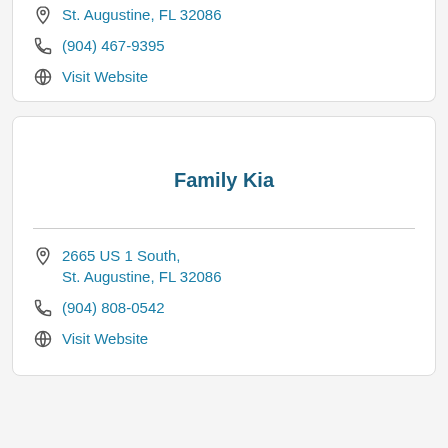St. Augustine, FL 32086
(904) 467-9395
Visit Website
Family Kia
2665 US 1 South, St. Augustine, FL 32086
(904) 808-0542
Visit Website